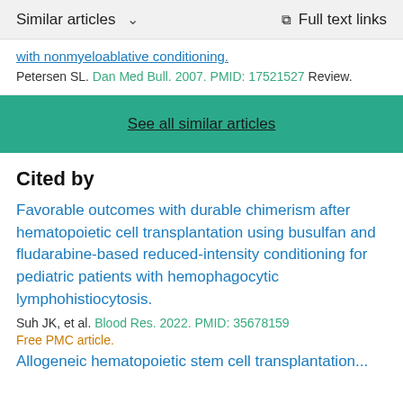Similar articles   ∨   Full text links
with nonmyeloablative conditioning.
Petersen SL. Dan Med Bull. 2007. PMID: 17521527 Review.
See all similar articles
Cited by
Favorable outcomes with durable chimerism after hematopoietic cell transplantation using busulfan and fludarabine-based reduced-intensity conditioning for pediatric patients with hemophagocytic lymphohistiocytosis.
Suh JK, et al. Blood Res. 2022. PMID: 35678159
Free PMC article.
Allogeneic hematopoietic stem cell transplantation...